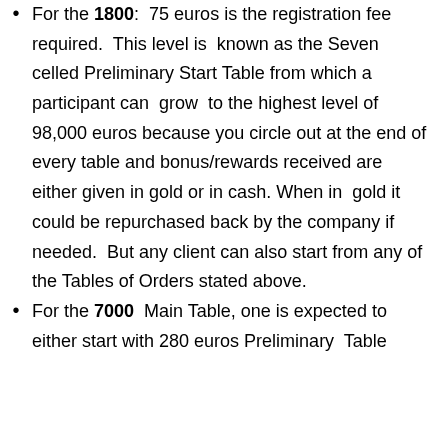For the 1800: 75 euros is the registration fee required. This level is known as the Seven celled Preliminary Start Table from which a participant can grow to the highest level of 98,000 euros because you circle out at the end of every table and bonus/rewards received are either given in gold or in cash. When in gold it could be repurchased back by the company if needed. But any client can also start from any of the Tables of Orders stated above.
For the 7000 Main Table, one is expected to either start with 280 euros Preliminary Table